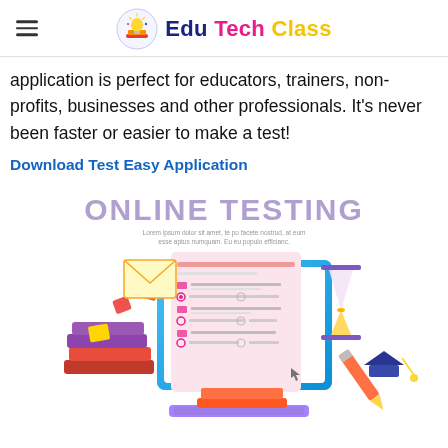Edu Tech Class
application is perfect for educators, trainers, non-profits, businesses and other professionals. It's never been faster or easier to make a test!
Download Test Easy Application
[Figure (illustration): Online Testing illustration featuring a computer monitor showing a quiz/test form, books, graduation cap, hourglass, pencil, and scattered decorative elements. Title reads ONLINE TESTING with Lorem ipsum subtext.]